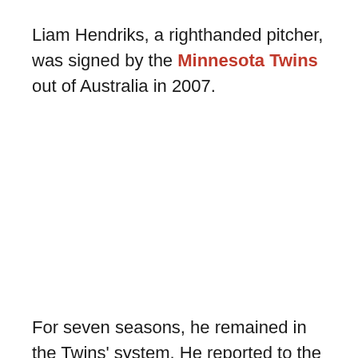Liam Hendriks, a righthanded pitcher, was signed by the Minnesota Twins out of Australia in 2007.
For seven seasons, he remained in the Twins' system. He reported to the Minnesota spring-training camp in Ft. Myers, Florida, every spring, and pitched for the Twins in 2011, 2012 and 2013 (and not very well: 6.06